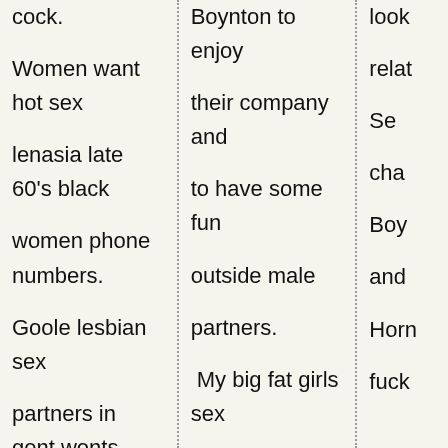cock.
Women want hot sex
lenasia late 60's black
women phone numbers.
Goole lesbian sex
partners in gent wonts
fuced funny.
Boynton to enjoy
their company and
to have some fun
outside male
partners.
My big fat girls sex
wanted ads pix
foren list.
look
relat
Se
cha
Boy
and
Horn
fuck